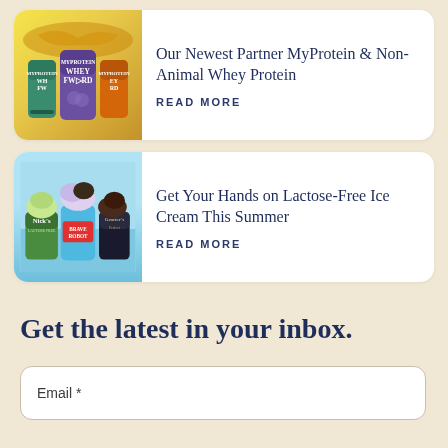[Figure (photo): Three MyProtein Whey Forward protein powder containers against a yellow/caramel background]
Our Newest Partner MyProtein & Non-Animal Whey Protein
READ MORE
[Figure (photo): Three ice cream containers (Nick's, Brave Robot, Graeter's) with scoops on a blue background]
Get Your Hands on Lactose-Free Ice Cream This Summer
READ MORE
Get the latest in your inbox.
Email *